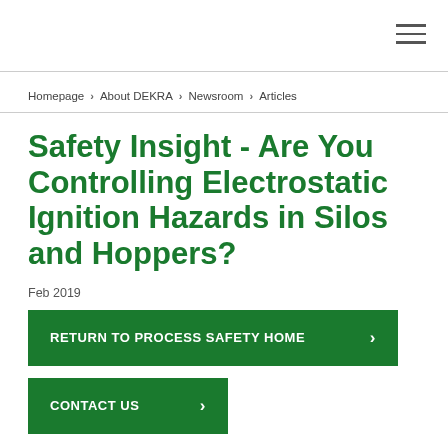Homepage > About DEKRA > Newsroom > Articles
Safety Insight - Are You Controlling Electrostatic Ignition Hazards in Silos and Hoppers?
Feb 2019
RETURN TO PROCESS SAFETY HOME >
CONTACT US >